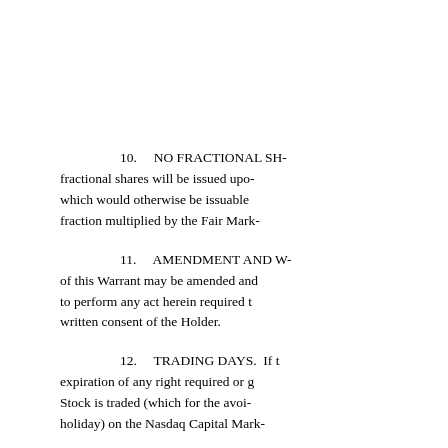10.    NO FRACTIONAL SH[ARES.] No fractional shares will be issued upo[n exercise,] which would otherwise be issuable[, a cash payment of such] fraction multiplied by the Fair Mark[et Value shall be paid.]
11.    AMENDMENT AND W[AIVER. The terms] of this Warrant may be amended and [the observance of any term] to perform any act herein required t[o be performed may be waived] written consent of the Holder.
12.    TRADING DAYS. If t[he last day for the exercise or] expiration of any right required or g[ranted herein falls on a day that the] Stock is traded (which for the avoi[dance of doubt excludes any bank] holiday) on the Nasdaq Capital Mark[et,]